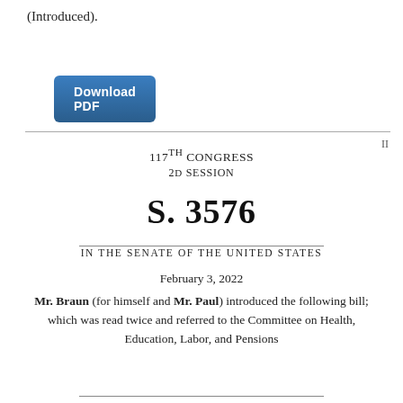(Introduced).
[Figure (other): Download PDF button (blue rounded rectangle)]
II
117TH CONGRESS
2D SESSION
S. 3576
IN THE SENATE OF THE UNITED STATES
February 3, 2022
Mr. Braun (for himself and Mr. Paul) introduced the following bill; which was read twice and referred to the Committee on Health, Education, Labor, and Pensions